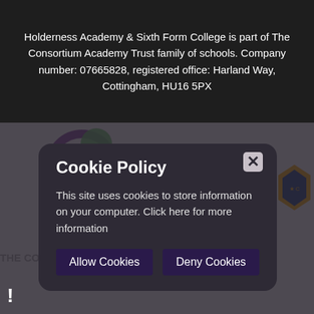Holderness Academy & Sixth Form College is part of The Consortium Academy Trust family of schools. Company number: 07665828, registered office: Harland Way, Cottingham, HU16 5PX
[Figure (screenshot): Cookie policy modal dialog overlaid on a school website. The modal has a dark rounded background with a close (x) button, title 'Cookie Policy', descriptive text, and two buttons: 'Allow Cookies' and 'Deny Cookies'. Background shows partial school logos and navigation elements.]